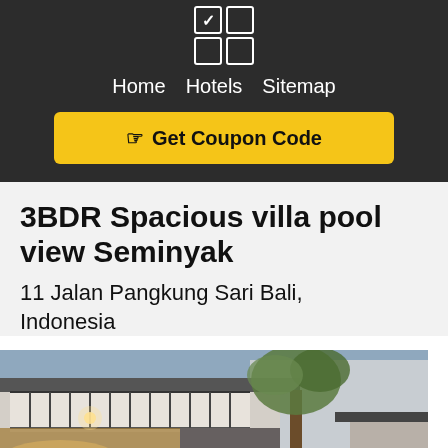[Figure (logo): App logo with checked checkbox and grid of squares]
Home  Hotels  Sitemap
☞ Get Coupon Code
3BDR Spacious villa pool view Seminyak
11 Jalan Pangkung Sari Bali, Indonesia
[Figure (photo): Exterior/interior photo of a spacious villa showing a two-story building with balcony and railing, a large tree (frangipani), and warm interior lighting at dusk]